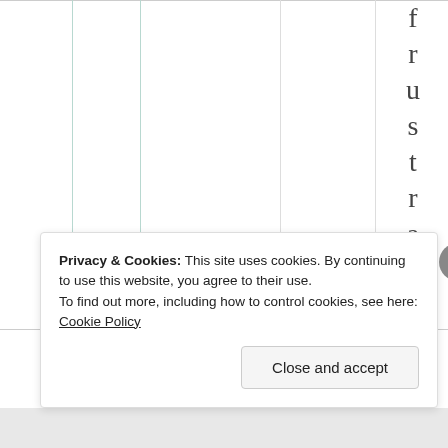Privacy & Cookies: This site uses cookies. By continuing to use this website, you agree to their use. To find out more, including how to control cookies, see here: Cookie Policy
Close and accept